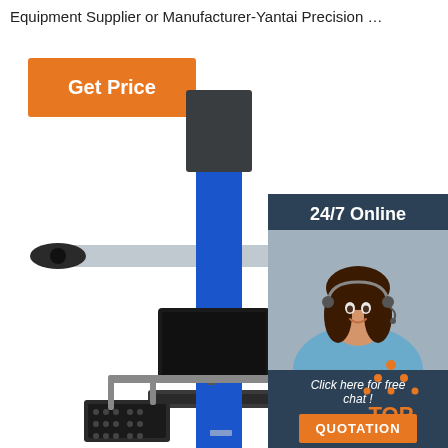Equipment Supplier or Manufacturer-Yantai Precision …
Get Price
[Figure (photo): 3D wheel alignment machine with blue column, horizontal bar with camera arms, dual monitors, keyboard, and clamps on sides]
[Figure (photo): Customer service representative woman wearing headset smiling, with '24/7 Online' header, 'Click here for free chat!' text, and orange QUOTATION button]
[Figure (logo): TOP logo with orange dot triangle above orange text 'TOP']